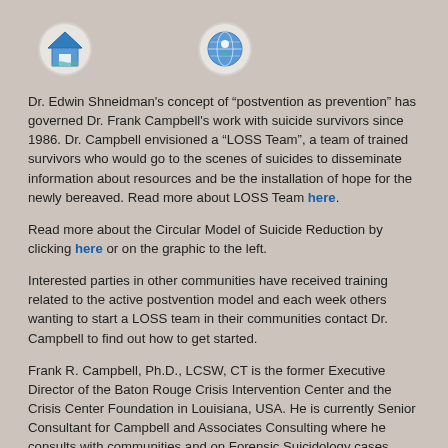[Figure (logo): House/home icon with blue and teal roof design in circular frame]
[Figure (logo): Globe/world icon with blue and green design in circular frame]
Dr. Edwin Shneidman's concept of “postvention as prevention” has governed Dr. Frank Campbell's work with suicide survivors since 1986. Dr. Campbell envisioned a “LOSS Team”, a team of trained survivors who would go to the scenes of suicides to disseminate information about resources and be the installation of hope for the newly bereaved. Read more about LOSS Team here.
Read more about the Circular Model of Suicide Reduction by clicking here or on the graphic to the left.
Interested parties in other communities have received training related to the active postvention model and each week others wanting to start a LOSS team in their communities contact Dr. Campbell to find out how to get started.
Frank R. Campbell, Ph.D., LCSW, CT is the former Executive Director of the Baton Rouge Crisis Intervention Center and the Crisis Center Foundation in Louisiana, USA. He is currently Senior Consultant for Campbell and Associates Consulting where he consults with communities and on Forensic Suicidology cases.
It was due to his more than twenty years of working with those bereaved by suicide that he introduced his Active Postvention Model (APM) most commonly known as the LOSS Team (Local